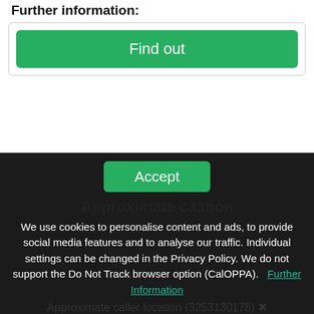Further information:
Find out
Accept
Approximate ca...ation
We use cookies to personalise content and ads, to provide social media features and to analyse our traffic. Individual settings can be changed in the Privacy Policy. We do not support the Do Not Track browser option (CalOPPA).   Further Information
Approximate caller location (3253130178)